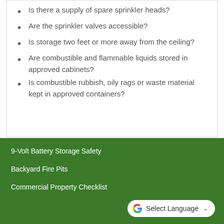Is there a supply of spare sprinkler heads?
Are the sprinkler valves accessible?
Is storage two feet or more away from the ceiling?
Are combustible and flammable liquids stored in approved cabinets?
Is combustible rubbish, oily rags or waste material kept in approved containers?
9-Volt Battery Storage Safety
Backyard Fire Pits
Commercial Property Checklist